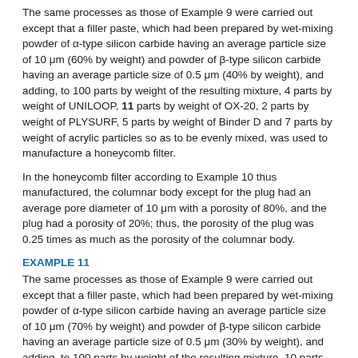The same processes as those of Example 9 were carried out except that a filler paste, which had been prepared by wet-mixing powder of α-type silicon carbide having an average particle size of 10 μm (60% by weight) and powder of β-type silicon carbide having an average particle size of 0.5 μm (40% by weight), and adding, to 100 parts by weight of the resulting mixture, 4 parts by weight of UNILOOP, 11 parts by weight of OX-20, 2 parts by weight of PLYSURF, 5 parts by weight of Binder D and 7 parts by weight of acrylic particles so as to be evenly mixed, was used to manufacture a honeycomb filter.
In the honeycomb filter according to Example 10 thus manufactured, the columnar body except for the plug had an average pore diameter of 10 μm with a porosity of 80%, and the plug had a porosity of 20%; thus, the porosity of the plug was 0.25 times as much as the porosity of the columnar body.
EXAMPLE 11
The same processes as those of Example 9 were carried out except that a filler paste, which had been prepared by wet-mixing powder of α-type silicon carbide having an average particle size of 10 μm (70% by weight) and powder of β-type silicon carbide having an average particle size of 0.5 μm (30% by weight), and adding, to 100 parts by weight of the resulting mixture, 10 parts by weight of UNILOOP, 15 parts by weight of OX-20, 3 parts by weight of PLYSURF, 8 parts by weight of Binder D and 30 parts by